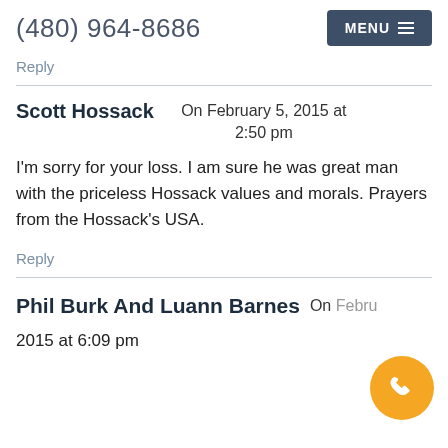(480) 964-8686  MENU
Reply
Scott Hossack  On February 5, 2015 at 2:50 pm
I'm sorry for your loss. I am sure he was great man with the priceless Hossack values and morals. Prayers from the Hossack's USA.
Reply
Phil Burk And Luann Barnes  On February... 2015 at 6:09 pm